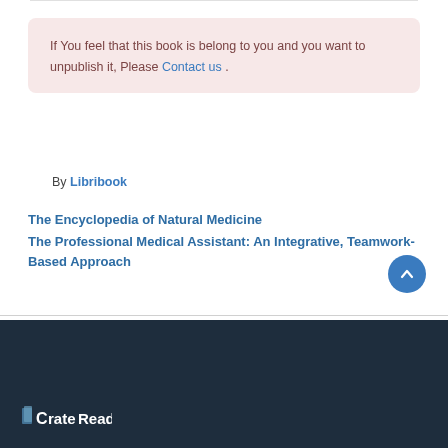If You feel that this book is belong to you and you want to unpublish it, Please Contact us .
By Libribook
The Encyclopedia of Natural Medicine
The Professional Medical Assistant: An Integrative, Teamwork-Based Approach
CrateReader logo